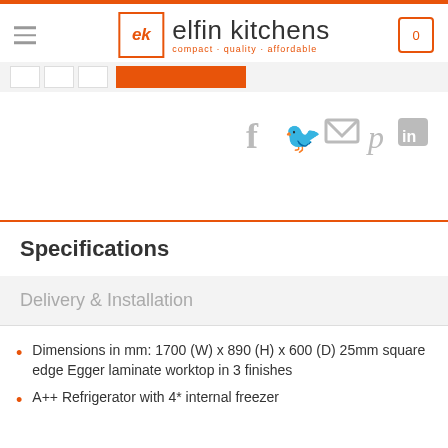elfin kitchens – compact · quality · affordable
[Figure (logo): Elfin Kitchens logo with ek monogram in orange box and tagline compact · quality · affordable]
[Figure (infographic): Social share icons: Facebook, Twitter, Email, Pinterest, LinkedIn in gray]
Specifications
Delivery & Installation
Dimensions in mm: 1700 (W) x 890 (H) x 600 (D) 25mm square edge Egger laminate worktop in 3 finishes
A++ Refrigerator with 4* internal freezer